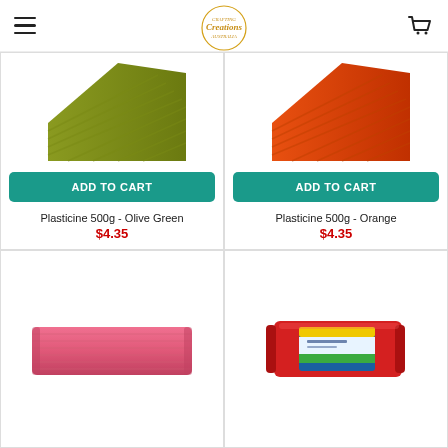Creations Australia — navigation header with hamburger menu and cart icon
[Figure (photo): Olive green plasticine block, top portion visible, ridged texture]
ADD TO CART
Plasticine 500g - Olive Green
$4.35
[Figure (photo): Orange plasticine block, top portion visible, ridged texture]
ADD TO CART
Plasticine 500g - Orange
$4.35
[Figure (photo): Pink/rose coloured plasticine bar, full bar visible with ridged surface]
[Figure (photo): Red packaged plasticine product with Faber-Castell style packaging showing colorful label]